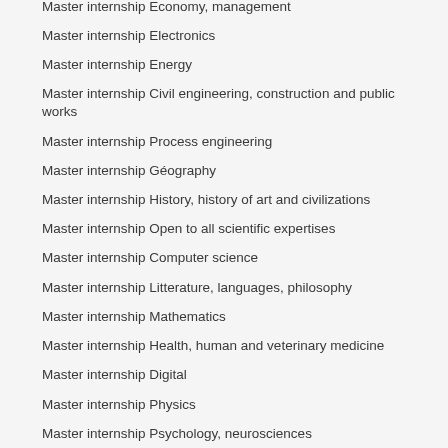Master internship Economy, management
Master internship Electronics
Master internship Energy
Master internship Civil engineering, construction and public works
Master internship Process engineering
Master internship Géography
Master internship History, history of art and civilizations
Master internship Open to all scientific expertises
Master internship Computer science
Master internship Litterature, languages, philosophy
Master internship Mathematics
Master internship Health, human and veterinary medicine
Master internship Digital
Master internship Physics
Master internship Psychology, neurosciences
Master internship Robotics